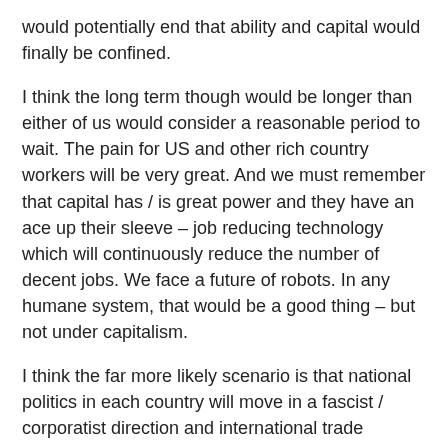would potentially end that ability and capital would finally be confined.
I think the long term though would be longer than either of us would consider a reasonable period to wait. The pain for US and other rich country workers will be very great. And we must remember that capital has / is great power and they have an ace up their sleeve – job reducing technology which will continuously reduce the number of decent jobs. We face a future of robots. In any humane system, that would be a good thing – but not under capitalism.
I think the far more likely scenario is that national politics in each country will move in a fascist / corporatist direction and international trade